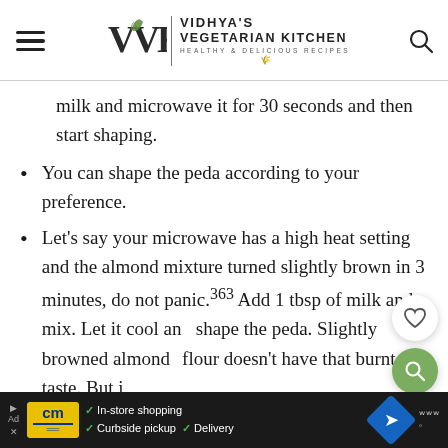Vidhya's Vegetarian Kitchen — Healthy & Delicious Recipes
milk and microwave it for 30 seconds and then start shaping.
You can shape the peda according to your preference.
Let's say your microwave has a high heat setting and the almond mixture turned slightly brown in 3 minutes, do not panic. Add 1 tbsp of milk and mix. Let it cool and shape the peda. Slightly browned almond flour doesn't have that burnt taste. But if it becomes dark brown, then we cannot use
[Figure (screenshot): Advertisement banner: cm logo, In-store shopping, Curbside pickup, Delivery, navigation icon]